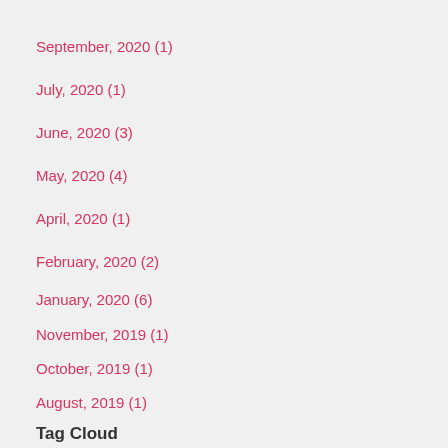September, 2020  (1)
July, 2020  (1)
June, 2020  (3)
May, 2020  (4)
April, 2020  (1)
February, 2020  (2)
January, 2020  (6)
November, 2019  (1)
October, 2019  (1)
August, 2019  (1)
June, 2019  (1)
May, 2019  (2)
April, 2019  (2)
March, 2019  (4)
Tag Cloud